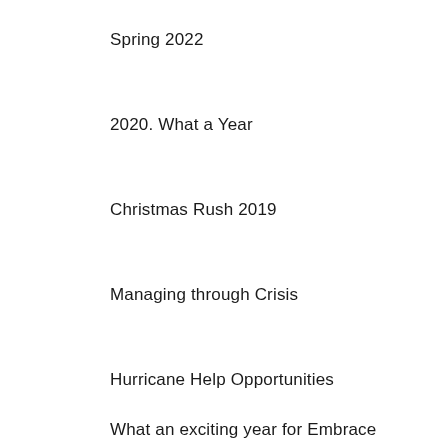Spring 2022
2020. What a Year
Christmas Rush 2019
Managing through Crisis
Hurricane Help Opportunities
What an exciting year for Embrace